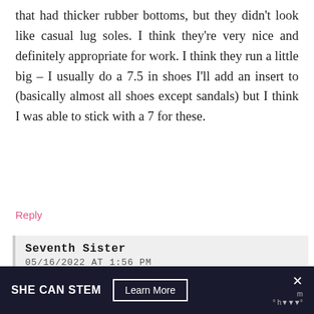that had thicker rubber bottoms, but they didn't look like casual lug soles. I think they're very nice and definitely appropriate for work. I think they run a little big – I usually do a 7.5 in shoes I'll add an insert to (basically almost all shoes except sandals) but I think I was able to stick with a 7 for these.
Reply
Seventh Sister
05/16/2022 AT 1:56 PM
I have some Talbots loafers that are pointy-ish and have held up well.
Reply
Anne-on
05/16/2022 AT 9:52 AM
SHE CAN STEM  Learn More